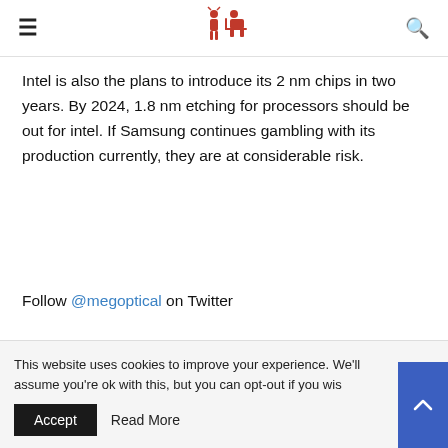Megoptical logo header with hamburger menu and search icon
Intel is also the plans to introduce its 2 nm chips in two years. By 2024, 1.8 nm etching for processors should be out for intel. If Samsung continues gambling with its production currently, they are at considerable risk.
Follow @megoptical on Twitter
This website uses cookies to improve your experience. We'll assume you're ok with this, but you can opt-out if you wish. Accept Read More